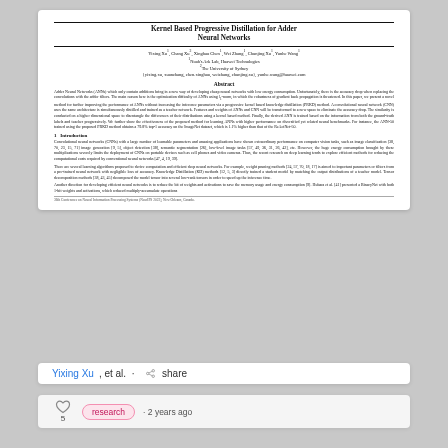Kernel Based Progressive Distillation for Adder Neural Networks
Yixing Xu, Chang Xu, Xinghao Chen, Wei Zhang, Chunjing Xu, Yunhe Wang
Noah's Ark Lab, Huawei Technologies
The University of Sydney
{yixing.xu, xuanchang, chen.xinghao, weizhang, chunjing.xu}, yunhe.wang@huawei.com
Abstract
Adder Neural Networks (ANNs) which only contain additions bring in a new way of developing cheap neural networks with low energy consumption. Unfortunately, there is the accuracy drop when replacing the convolutions with the adder filters. The main reason here is the optimization difficulty of ANNs using l1-norm, in which the robustness of gradient back propagation is threatened. In this paper, we present a novel method for further improving the performance of ANNs without increasing the inference parameters via a progressive kernel based knowledge distillation (PRKD) method. A convolutional neural network (CNN) uses the same architecture is simultaneously distilled and trained as a teacher network. Features and weights of ANNs and CNN will be transformed to a new space to eliminate the accuracy drop. The similarity is conducted on a higher dimensional space to disentangle the differences of their distributions using a kernel based method. Finally, the derived ANN is trained based on the information from both the ground-truth labels and teacher progressively. We further show the effectiveness of the proposed method for learning ANNs with higher performance on diversified yet related neural benchmarks. For instance, the ANN-50 trained using the proposed PRKD method obtains a 79.8% top-1 accuracy on the ImageNet dataset, which is 1.1% higher than that of the ReActNet-50.
1 Introduction
Convolutional neural networks (CNNs) with a large number of learnable parameters and amazing applications have shown extraordinary performance on computer vision tasks, such as image classification [38, 70, 23, 15, 71] image generation [9, 5], object detection [38], semantic segmentation [26], low-level image tasks [57, 49, 36, 31, 26, 42], etc. However, the huge energy consumption brought by these multiplications severely limits the deployment of CNNs on portable devices such as cell phones and video cameras. Thus, the recent research on deep learning tends to explore efficient methods for reducing the computational costs required by conventional neural networks [47, 4, 19, 39].
There are several learning algorithms proposed to derive computation and efficient deep neural networks. For example, weight pruning methods [24, 57, 70, 18, 17] is aimed to important parameters or filters from a pre-trained neural network with negligible loss of accuracy. Knowledge Distillation (KD) methods [12, 5, 3] directly trained a student model by matching the output distributions of a teacher model. Tensor decomposition methods [38, 43, 45] decomposed the model tensor into several low-rank tensors in order to speed up the inference time.
Another direction for developing efficient neural networks is to reduce the bit of weights and activations to save the memory usage and energy consumption [9]. Hubara et al. [41] presented a BinaryNet with both 1-bit weights and activations, which reduced multiply-accumulate operations
36th Conference on Neural Information Processing Systems (NeurIPS 2022), New Orleans, Canada.
Yixing Xu, et al. · share
research · 2 years ago